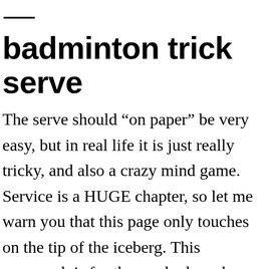badminton trick serve
The serve should “on paper” be very easy, but in real life it is just really tricky, and also a crazy mind game. Service is a HUGE chapter, so let me warn you that this page only touches on the tip of the iceberg. This paragraph is for those who have been playing for awhile now as after you’re able to consistency serve over you may be wondering what’s next? Badminton Positioning for Mixed Doubles Serve & Return. A Detailed breakdown